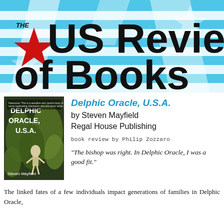[Figure (logo): The US Review of Books banner logo with blue and white horizontal stripes background, large black bold text 'US Review of Books' with 'THE' in small text and a red star graphic on left]
[Figure (illustration): Book cover of 'Delphic Oracle, U.S.A.' by Steven Mayfield, showing a skeleton among tropical foliage on a dark background]
Delphic Oracle, U.S.A.
by Steven Mayfield
Regal House Publishing
book review by Philip Zozzaro
"The bishop was right. In Delphic Oracle, I was a good fit."
The linked fates of a few individuals impact generations of families in Delphic Oracle,